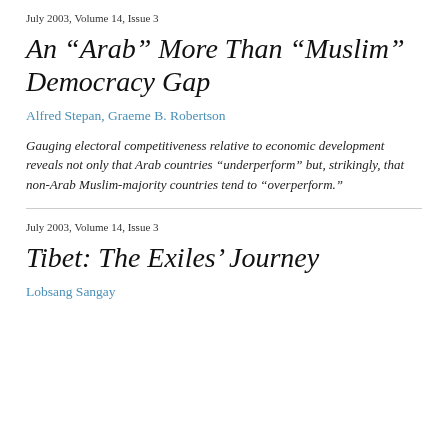July 2003, Volume 14, Issue 3
An “Arab” More Than “Muslim” Democracy Gap
Alfred Stepan, Graeme B. Robertson
Gauging electoral competitiveness relative to economic development reveals not only that Arab countries “underperform” but, strikingly, that non-Arab Muslim-majority countries tend to “overperform.”
July 2003, Volume 14, Issue 3
Tibet: The Exiles’ Journey
Lobsang Sangay